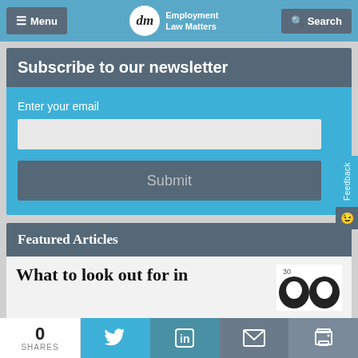Menu | Employment Law Matters | Search
Subscribe to our newsletter
Enter your email
Submit
Featured Articles
What to look out for in
0 SHARES